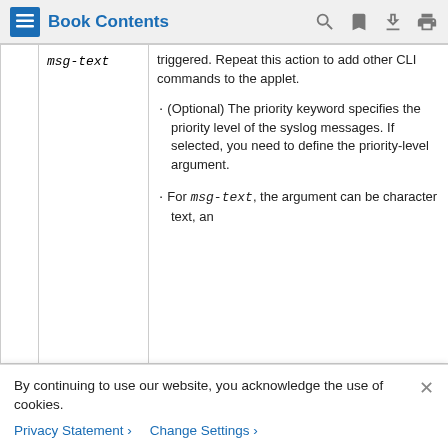Book Contents
|  | Parameter | Description |
| --- | --- | --- |
|  | msg-text | triggered. Repeat this action to add other CLI commands to the applet.
· (Optional) The priority keyword specifies the priority level of the syslog messages. If selected, you need to define the priority-level argument.
· For msg-text, the argument can be character text, an |
By continuing to use our website, you acknowledge the use of cookies.
Privacy Statement >   Change Settings >